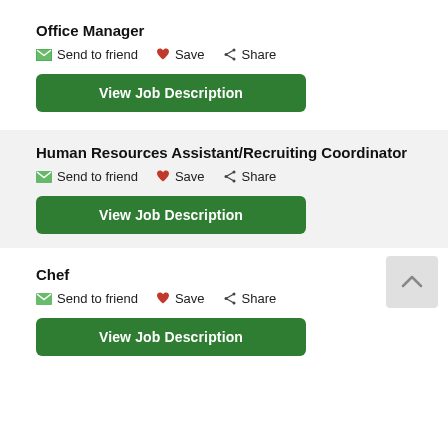Office Manager
Send to friend  Save  Share
View Job Description
Human Resources Assistant/Recruiting Coordinator
Send to friend  Save  Share
View Job Description
Chef
Send to friend  Save  Share
View Job Description